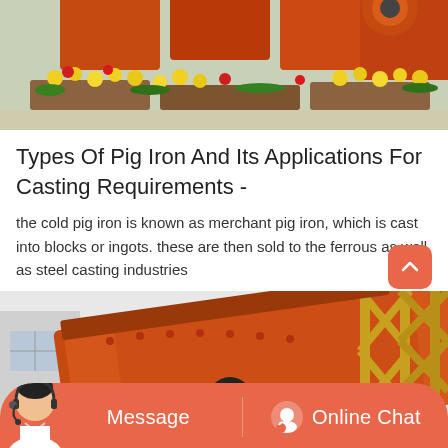[Figure (photo): Orange industrial machinery (crusher/mill) with yellow and red flowers in the foreground, outdoor industrial setting]
Types Of Pig Iron And Its Applications For Casting Requirements -
the cold pig iron is known as merchant pig iron, which is cast into blocks or ingots. these are then sold to the ferrous as well as steel casting industries
[Figure (photo): Close-up of orange industrial vibrating screen or sieve machine with black circular element, with yellow scaffolding structure on the right, industrial facility background]